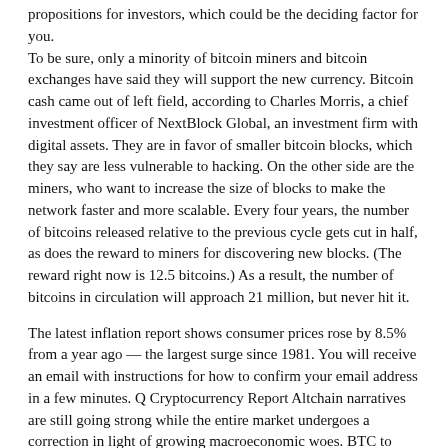propositions for investors, which could be the deciding factor for you. To be sure, only a minority of bitcoin miners and bitcoin exchanges have said they will support the new currency. Bitcoin cash came out of left field, according to Charles Morris, a chief investment officer of NextBlock Global, an investment firm with digital assets. They are in favor of smaller bitcoin blocks, which they say are less vulnerable to hacking. On the other side are the miners, who want to increase the size of blocks to make the network faster and more scalable. Every four years, the number of bitcoins released relative to the previous cycle gets cut in half, as does the reward to miners for discovering new blocks. (The reward right now is 12.5 bitcoins.) As a result, the number of bitcoins in circulation will approach 21 million, but never hit it.
The latest inflation report shows consumer prices rose by 8.5% from a year ago — the largest surge since 1981. You will receive an email with instructions for how to confirm your email address in a few minutes. Q Cryptocurrency Report Altchain narratives are still going strong while the entire market undergoes a correction in light of growing macroeconomic woes. BTC to USD rate today is $41,308 and has increased 1.2% from $40,816.73 since yesterday. When the price hits the target